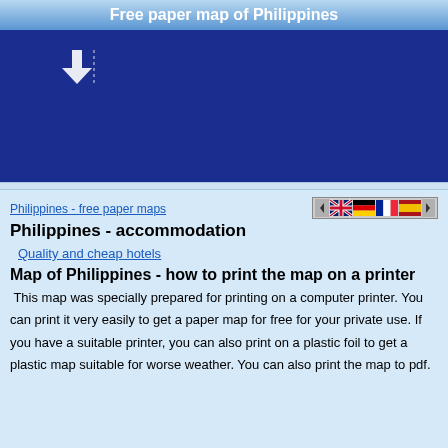Free paper map of Philippines
[Figure (map): Dark blue map area of Philippines with a download arrow icon in the upper left area]
Philippines - free paper maps
[Figure (other): Language flag navigation bar with left arrow, UK flag, German flag, French flag, Spanish flag, and right arrow]
Philippines - accommodation
Quality and cheap hotels
Map of Philippines - how to print the map on a printer
This map was specially prepared for printing on a computer printer. You can print it very easily to get a paper map for free for your private use. If you have a suitable printer, you can also print on a plastic foil to get a plastic map suitable for worse weather. You can also print the map to pdf.